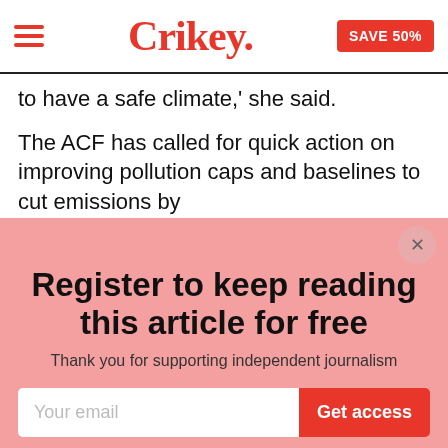Crikey. SAVE 50%
to have a safe climate,' she said.
The ACF has called for quick action on improving pollution caps and baselines to cut emissions by
Register to keep reading this article for free
Thank you for supporting independent journalism
Your email
Get access
By submitting this form, you agree to accept Crikey's terms and conditions
I'll do this later